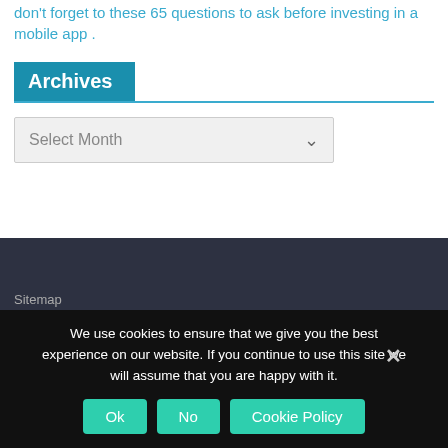don't forget to these 65 questions to ask before investing in a mobile app .
Archives
[Figure (screenshot): A dropdown select box with placeholder text 'Select Month' and a chevron arrow on the right]
Sitemap
We use cookies to ensure that we give you the best experience on our website. If you continue to use this site we will assume that you are happy with it.
Ok  No  Cookie Policy